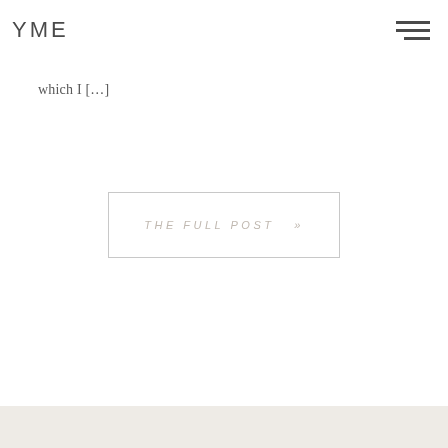YME
which I […]
THE FULL POST  »